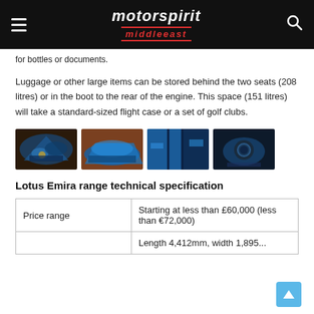motorspirit middleeast
for bottles or documents.
Luggage or other large items can be stored behind the two seats (208 litres) or in the boot to the rear of the engine. This space (151 litres) will take a standard-sized flight case or a set of golf clubs.
[Figure (photo): Four car detail photos of the Lotus Emira in blue]
Lotus Emira range technical specification
| Price range | Starting at less than £60,000 (less than €72,000) |
|  | Length 4,412mm, width 1,895mm... |